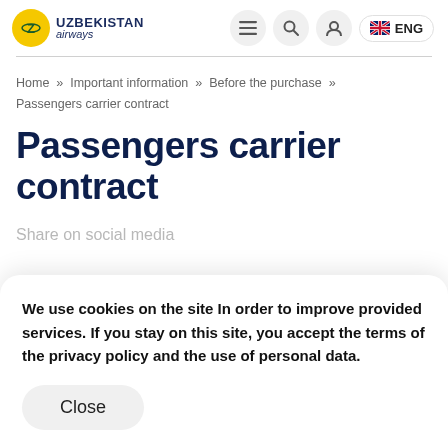[Figure (logo): Uzbekistan Airways logo with yellow circle emblem and blue text]
Home » Important information » Before the purchase » Passengers carrier contract
Passengers carrier contract
Share on social media
We use cookies on the site In order to improve provided services. If you stay on this site, you accept the terms of the privacy policy and the use of personal data.
Close